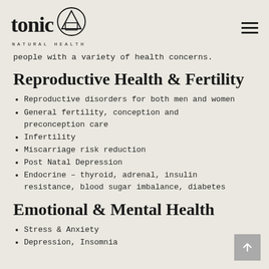tonic NATURAL HEALTH
people with a variety of health concerns.
Reproductive Health & Fertility
Reproductive disorders for both men and women
General fertility, conception and preconception care
Infertility
Miscarriage risk reduction
Post Natal Depression
Endocrine – thyroid, adrenal, insulin resistance, blood sugar imbalance, diabetes
Emotional & Mental Health
Stress & Anxiety
Depression, Insomnia